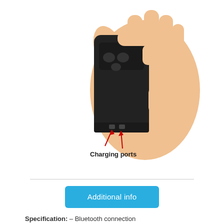[Figure (photo): A hand holding a small black remote control or scanner device. Two red arrows point to the bottom edge of the device labeled 'Charging ports'.]
Additional info
Specification: – Bluetooth connection